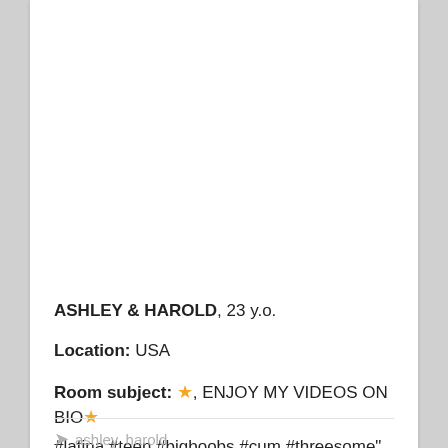ASHLEY & HAROLD, 23 y.o.
Location: USA
Room subject: ★, ENJOY MY VIDEOS ON BIO★ #latina #teen #bigboobs #cum #threesome"
ashley, harold